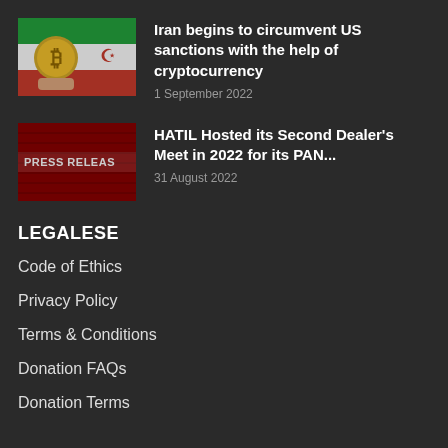[Figure (photo): Thumbnail showing a hand holding a Bitcoin coin in front of an Iranian flag]
Iran begins to circumvent US sanctions with the help of cryptocurrency
1 September 2022
[Figure (photo): Thumbnail showing a red press release document background with text PRESS RELEASE]
HATIL Hosted its Second Dealer's Meet in 2022 for its PAN...
31 August 2022
LEGALESE
Code of Ethics
Privacy Policy
Terms & Conditions
Donation FAQs
Donation Terms